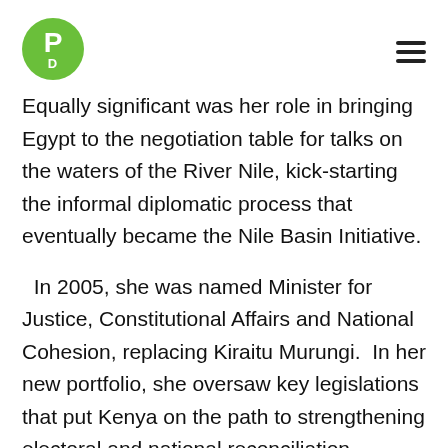[Figure (logo): Green circular logo with white letter P and subscript D inside]
Equally significant was her role in bringing Egypt to the negotiation table for talks on the waters of the River Nile, kick-starting the informal diplomatic process that eventually became the Nile Basin Initiative.
In 2005, she was named Minister for Justice, Constitutional Affairs and National Cohesion, replacing Kiraitu Murungi. In her new portfolio, she oversaw key legislations that put Kenya on the path to strengthening electoral and national reconciliation processes and a constitutional review.